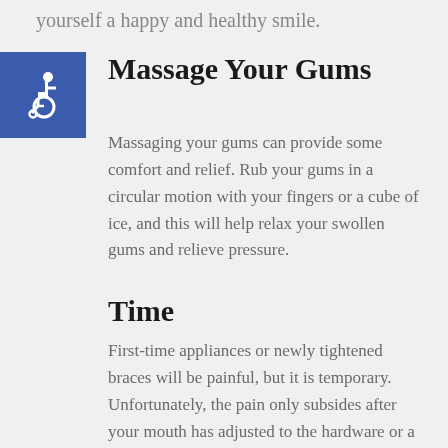yourself a happy and healthy smile.
[Figure (illustration): Accessibility icon (wheelchair symbol) in white on a blue square background]
Massage Your Gums
Massaging your gums can provide some comfort and relief. Rub your gums in a circular motion with your fingers or a cube of ice, and this will help relax your swollen gums and relieve pressure.
Time
First-time appliances or newly tightened braces will be painful, but it is temporary. Unfortunately, the pain only subsides after your mouth has adjusted to the hardware or a tightening. Keep in mind your overall